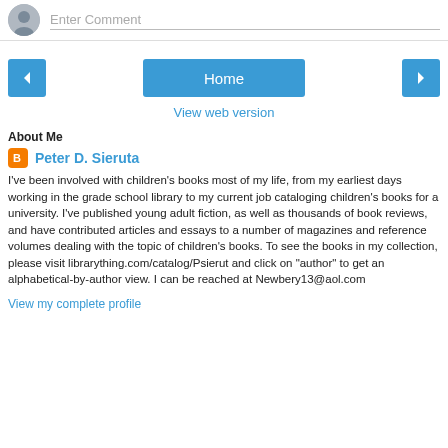Enter Comment
Home
View web version
About Me
Peter D. Sieruta
I've been involved with children's books most of my life, from my earliest days working in the grade school library to my current job cataloging children's books for a university. I've published young adult fiction, as well as thousands of book reviews, and have contributed articles and essays to a number of magazines and reference volumes dealing with the topic of children's books. To see the books in my collection, please visit librarything.com/catalog/Psierut and click on "author" to get an alphabetical-by-author view. I can be reached at Newbery13@aol.com
View my complete profile